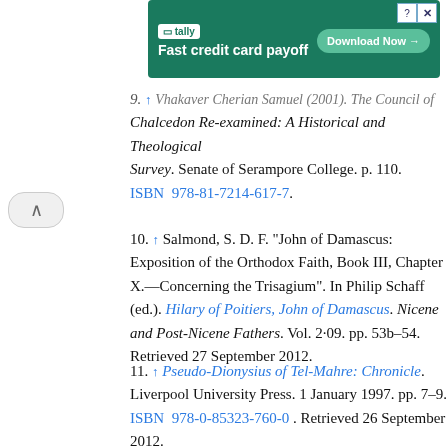[Figure (screenshot): Tally advertisement banner: 'Fast credit card payoff' with Download Now button on green background]
9. ↑ Vhakaver Cherian Samuel (2001). The Council of Chalcedon Re-examined: A Historical and Theological Survey. Senate of Serampore College. p. 110. ISBN 978-81-7214-617-7.
10. ↑ Salmond, S. D. F. "John of Damascus: Exposition of the Orthodox Faith, Book III, Chapter X.—Concerning the Trisagium". In Philip Schaff (ed.). Hilary of Poitiers, John of Damascus. Nicene and Post-Nicene Fathers. Vol. 2·09. pp. 53b–54. Retrieved 27 September 2012.
11. ↑ Pseudo-Dionysius of Tel-Mahre: Chronicle. Liverpool University Press. 1 January 1997. pp. 7–9. ISBN 978-0-85323-760-0 . Retrieved 26 September 2012.